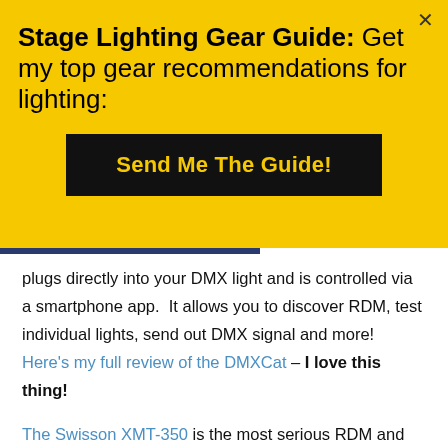Stage Lighting Gear Guide: Get my top gear recommendations for lighting:
Send Me The Guide!
plugs directly into your DMX light and is controlled via a smartphone app.  It allows you to discover RDM, test individual lights, send out DMX signal and more!  Here's my full review of the DMXCat – I love this thing!
The Swisson XMT-350 is the most serious RDM and DMX testing tool on the market. Not only can it...